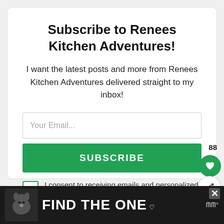Subscribe to Renees Kitchen Adventures!
I want the latest posts and more from Renees Kitchen Adventures delivered straight to my inbox!
Your Email...
SUBSCRIBE
I consent to receiving emails and personalized ads.
88
[Figure (infographic): Ad banner with a dog image and text FIND THE ONE with a heart logo and close button]
FIND THE ONE